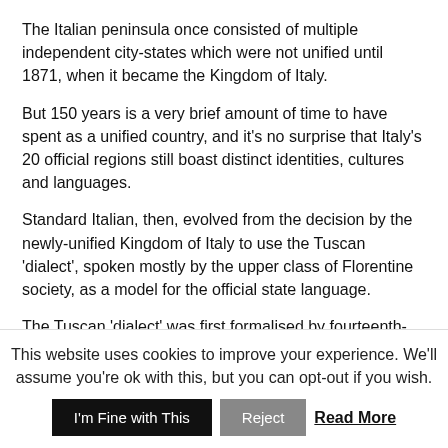The Italian peninsula once consisted of multiple independent city-states which were not unified until 1871, when it became the Kingdom of Italy.
But 150 years is a very brief amount of time to have spent as a unified country, and it's no surprise that Italy's 20 official regions still boast distinct identities, cultures and languages.
Standard Italian, then, evolved from the decision by the newly-unified Kingdom of Italy to use the Tuscan 'dialect', spoken mostly by the upper class of Florentine society, as a model for the official state language.
The Tuscan 'dialect' was first formalised by fourteenth-century scholars and writers like Dante Alighieri, Giovanni Boccaccio and Francesco Petrarca. They are, particularly in Dante's case, credited with cementing Tuscan (or Florentine more specifically),
This website uses cookies to improve your experience. We'll assume you're ok with this, but you can opt-out if you wish.